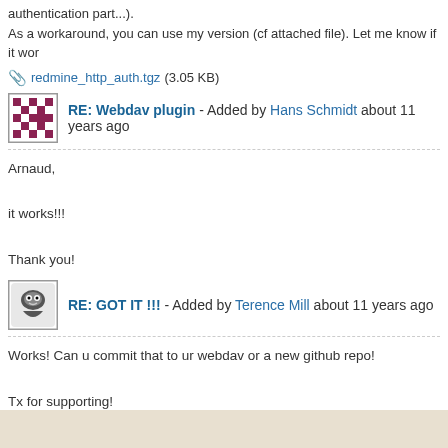authentication part...).
As a workaround, you can use my version (cf attached file). Let me know if it wor
redmine_http_auth.tgz (3.05 KB)
RE: Webdav plugin - Added by Hans Schmidt about 11 years ago
Arnaud,

it works!!!

Thank you!
RE: GOT IT !!! - Added by Terence Mill about 11 years ago
Works! Can u commit that to ur webdav or a new github repo!

Tx for supporting!

Arnaud Martel wrote:
Good news!!! Error is, in fact, caused by redmine_http_auth plugin...

I don't have any trouble on my server because I use my own version of th except the authentication part...).
As a workaround, you can use my version (cf attached file). Let me know
« Previous 1 2 3 4 Next » (51-75/90)